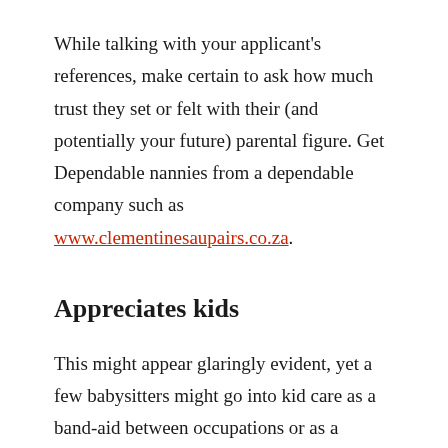While talking with your applicant's references, make certain to ask how much trust they set or felt with their (and potentially your future) parental figure. Get Dependable nannies from a dependable company such as www.clementinesaupairs.co.za.
Appreciates kids
This might appear glaringly evident, yet a few babysitters might go into kid care as a band-aid between occupations or as a method for bringing in cash as they figure out what they truly believe should do and have no genuine premium in the calling. Yet, nannying can have a few long days and in the event that you don't cherish being around kids it can get extreme rapidly